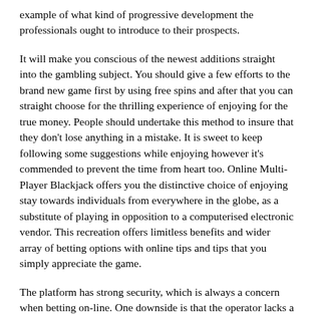example of what kind of progressive development the professionals ought to introduce to their prospects.
It will make you conscious of the newest additions straight into the gambling subject. You should give a few efforts to the brand new game first by using free spins and after that you can straight choose for the thrilling experience of enjoying for the true money. People should undertake this method to insure that they don't lose anything in a mistake. It is sweet to keep following some suggestions while enjoying however it's commended to prevent the time from heart too. Online Multi-Player Blackjack offers you the distinctive choice of enjoying stay towards individuals from everywhere in the globe, as a substitute of playing in opposition to a computerised electronic vendor. This recreation offers limitless benefits and wider array of betting options with online tips and tips that you simply appreciate the game.
The platform has strong security, which is always a concern when betting on-line. One downside is that the operator lacks a responsible gaming part. Therefore, clients have to be keen on controlling their playing actions. The site is good for bettors with different experiences, expertise and budgets. Whether you play for the best stakes or have a low-risk